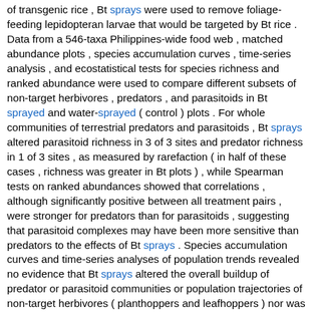of transgenic rice , Bt sprays were used to remove foliage-feeding lepidopteran larvae that would be targeted by Bt rice . Data from a 546-taxa Philippines-wide food web , matched abundance plots , species accumulation curves , time-series analysis , and ecostatistical tests for species richness and ranked abundance were used to compare different subsets of non-target herbivores , predators , and parasitoids in Bt sprayed and water-sprayed ( control ) plots . For whole communities of terrestrial predators and parasitoids , Bt sprays altered parasitoid richness in 3 of 3 sites and predator richness in 1 of 3 sites , as measured by rarefaction ( in half of these cases , richness was greater in Bt plots ) , while Spearman tests on ranked abundances showed that correlations , although significantly positive between all treatment pairs , were stronger for predators than for parasitoids , suggesting that parasitoid complexes may have been more sensitive than predators to the effects of Bt sprays . Species accumulation curves and time-series analyses of population trends revealed no evidence that Bt sprays altered the overall buildup of predator or parasitoid communities or population trajectories of non-target herbivores ( planthoppers and leafhoppers ) nor was evidence found for bottom-up effects in total abundances of non-target species identified in the food web from the addition of spores in the Bt spray formulation . When the same methods were applied to natural enemies ( predators and parasitoids ) of foliage-feeding lepidopteran and non-lepidopteran ( homopteran , hemipteran and dipteran ) herbivores , significant differences between treatments were detected in 7 of 12 cases . However , no treatment differences were found in mean abundances of these natural enemies , either in time-series plots or in total ( seasonal ) abundance . Analysis of guild-level trajectories revealed population behavior and treatment differences that could not be predicted in whole-community studies of predators and parasitoids . A more conclusive test of the impact of Bt rice will require